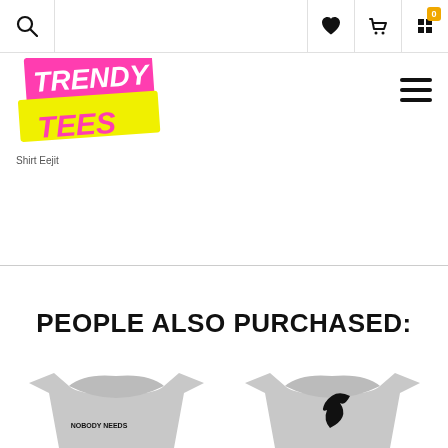Navigation bar with search, user, wishlist, and cart icons
[Figure (logo): Trendy Tees logo with pink and yellow background rectangles and stylized text]
Shirt Eejit
PEOPLE ALSO PURCHASED:
[Figure (photo): Gray t-shirt with text NOBODY NEEDS printed on it]
[Figure (photo): Gray t-shirt with a bird/animal graphic on it]